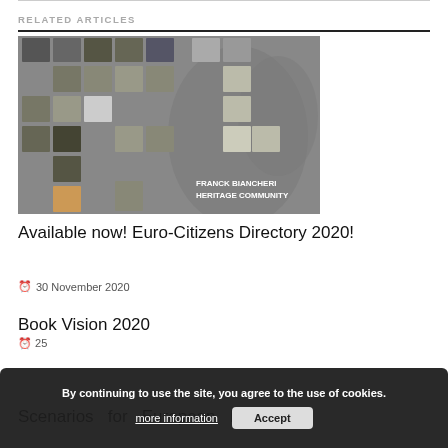RELATED ARTICLES
[Figure (photo): Group photo collage of people on a grey background with text 'FRANCK BIANCHERI HERITAGE COMMUNITY']
Available now! Euro-Citizens Directory 2020!
30 November 2020
Book Vision 2020
25 …
Scenarios for European Higher
By continuing to use the site, you agree to the use of cookies. more information Accept